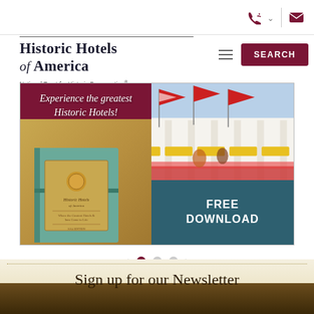Historic Hotels of America — National Trust for Historic Preservation
[Figure (screenshot): Navigation header with phone and email icons, hamburger menu, and red Search button]
[Figure (photo): Banner/carousel showing a book (Historic Hotels of America guide) on the left with italic text 'Experience the greatest Historic Hotels!' and on the right a hotel facade with American flags and a teal 'FREE DOWNLOAD' button overlay]
[Figure (other): Carousel navigation with left arrow, three dots (first active/filled), and right arrow]
Sign up for our Newsletter